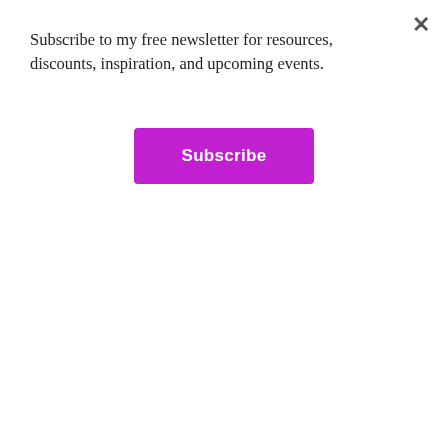Subscribe to my free newsletter for resources, discounts, inspiration, and upcoming events.
Subscribe
quick load of laundry, is greatly appreciated. If I have been on the road for more than 1 week, access to a washing machine is especially useful. Happy to work with a laundry service or a laundry mat if needed.
Hotels: Please make sure that I do not need to climb stairs, in case I am having a bad knee day. If that is not possible, let me know in advance. Non-smoking rooms only. I actually prefer to stay in guest rooms in local folk's houses (with my own room with clean sheets and a door that can be closed) than at hotels, unless traveling with a partner, so save yourself the budget expense if such an option is available.